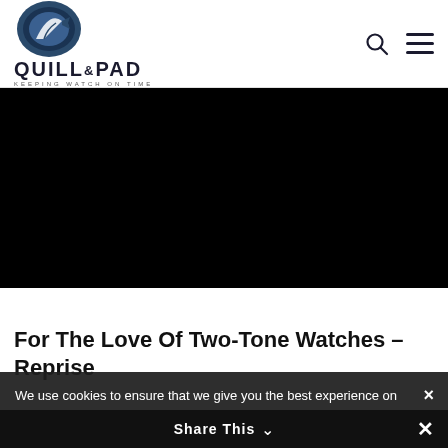QUILL & PAD – KEEPING WATCH ON TIME
[Figure (photo): Black image area representing an article hero image]
For The Love Of Two-Tone Watches – Reprise
We use cookies to ensure that we give you the best experience on our website. If you continue to use this site we will assume that you are happy with it.
Ok
Share This